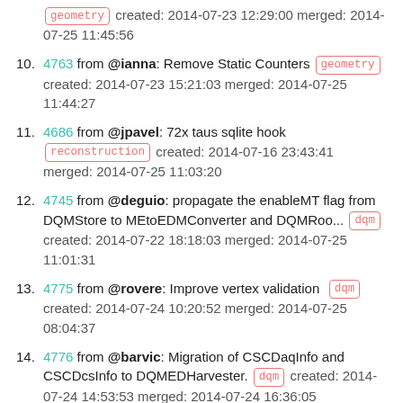(partial top) geometry created: 2014-07-23 12:29:00 merged: 2014-07-25 11:45:56
10. 4763 from @ianna: Remove Static Counters geometry created: 2014-07-23 15:21:03 merged: 2014-07-25 11:44:27
11. 4686 from @jpavel: 72x taus sqlite hook reconstruction created: 2014-07-16 23:43:41 merged: 2014-07-25 11:03:20
12. 4745 from @deguio: propagate the enableMT flag from DQMStore to MEtoEDMConverter and DQMRoo... dqm created: 2014-07-22 18:18:03 merged: 2014-07-25 11:01:31
13. 4775 from @rovere: Improve vertex validation dqm created: 2014-07-24 10:20:52 merged: 2014-07-25 08:04:37
14. 4776 from @barvic: Migration of CSCDaqInfo and CSCDcsInfo to DQMEDHarvester. dqm created: 2014-07-24 14:53:53 merged: 2014-07-24 16:36:05